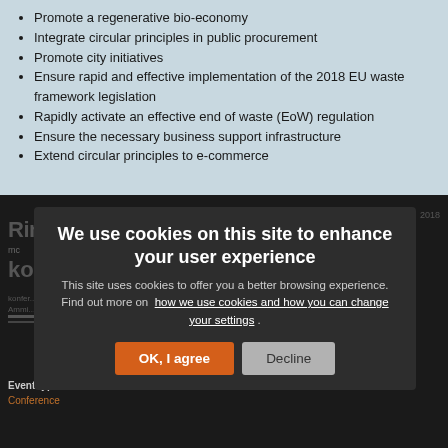Promote a regenerative bio-economy
Integrate circular principles in public procurement
Promote city initiatives
Ensure rapid and effective implementation of the 2018 EU waste framework legislation
Rapidly activate an effective end of waste (EoW) regulation
Ensure the necessary business support infrastructure
Extend circular principles to e-commerce
[Figure (screenshot): Cookie consent overlay on a dark website background. Overlay reads 'We use cookies on this site to enhance your user experience'. Body text: 'This site uses cookies to offer you a better browsing experience. Find out more on how we use cookies and how you can change your settings.' Two buttons: 'OK, I agree' (orange) and 'Decline' (grey). Background shows partial text of a webpage including 'Ringmajanhuse', 'konv...' in large bold letters, and 'Event type: Conference' at the bottom.]